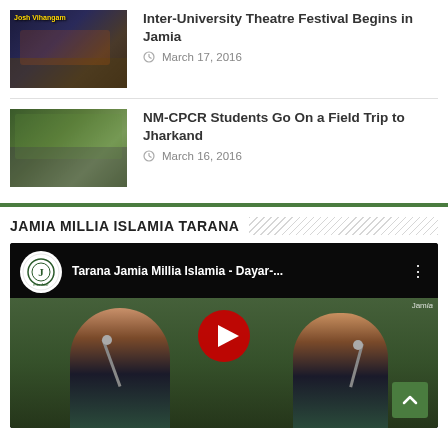[Figure (photo): Thumbnail image for theatre festival news article showing stage performance with Josh Vihangam text]
Inter-University Theatre Festival Begins in Jamia
March 17, 2016
[Figure (photo): Thumbnail image for NM-CPCR field trip showing group of students outdoors]
NM-CPCR Students Go On a Field Trip to Jharkand
March 16, 2016
JAMIA MILLIA ISLAMIA TARANA
[Figure (screenshot): YouTube video embed showing two young women in traditional Indian attire singing at microphones, with YouTube play button overlay. Video title: Tarana Jamia Millia Islamia - Dayar-...]